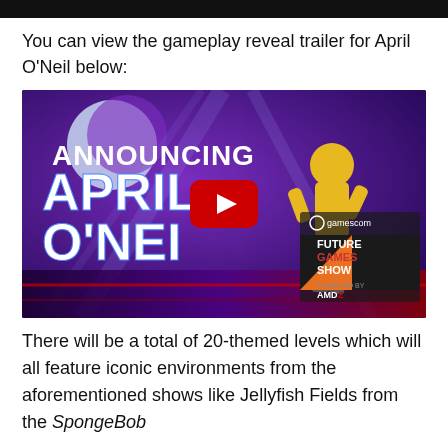[Figure (screenshot): Black top bar strip]
You can view the gameplay reveal trailer for April O’Neil below:
[Figure (screenshot): YouTube video thumbnail showing 'Announcing April O'Neil' with purple background, a character in yellow outfit, gamescom Future Games Show AMD logo, and a red YouTube play button in the center.]
There will be a total of 20-themed levels which will all feature iconic environments from the aforementioned shows like Jellyfish Fields from the SpongeBob